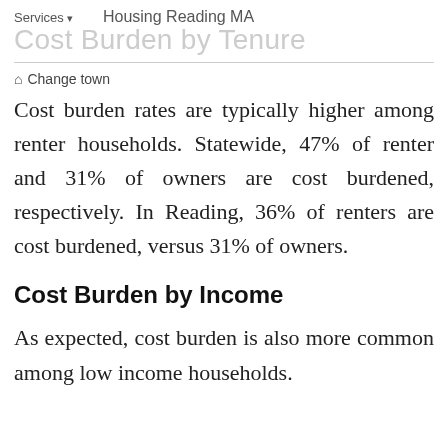Services ▾   Housing Reading MA
Cost Burden by Tenure
⌂ Change town
Cost burden rates are typically higher among renter households. Statewide, 47% of renter and 31% of owners are cost burdened, respectively. In Reading, 36% of renters are cost burdened, versus 31% of owners.
Cost Burden by Income
As expected, cost burden is also more common among low income households.